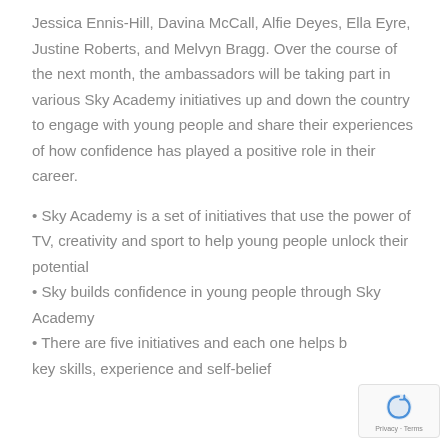Jessica Ennis-Hill, Davina McCall, Alfie Deyes, Ella Eyre, Justine Roberts, and Melvyn Bragg. Over the course of the next month, the ambassadors will be taking part in various Sky Academy initiatives up and down the country to engage with young people and share their experiences of how confidence has played a positive role in their career.
Sky Academy is a set of initiatives that use the power of TV, creativity and sport to help young people unlock their potential
Sky builds confidence in young people through Sky Academy
There are five initiatives and each one helps build key skills, experience and self-belief